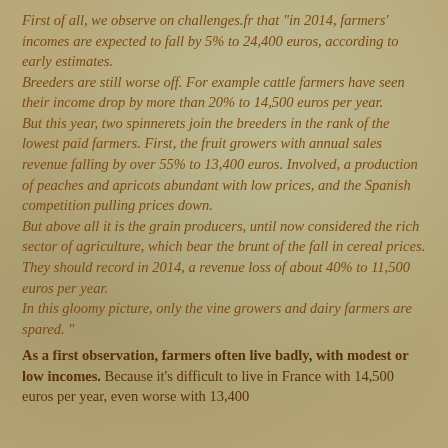First of all, we observe on challenges.fr that "in 2014, farmers' incomes are expected to fall by 5% to 24,400 euros, according to early estimates. Breeders are still worse off. For example cattle farmers have seen their income drop by more than 20% to 14,500 euros per year. But this year, two spinnerets join the breeders in the rank of the lowest paid farmers. First, the fruit growers with annual sales revenue falling by over 55% to 13,400 euros. Involved, a production of peaches and apricots abundant with low prices, and the Spanish competition pulling prices down. But above all it is the grain producers, until now considered the rich sector of agriculture, which bear the brunt of the fall in cereal prices. They should record in 2014, a revenue loss of about 40% to 11,500 euros per year. In this gloomy picture, only the vine growers and dairy farmers are spared. "
As a first observation, farmers often live badly, with modest or low incomes. Because it's difficult to live in France with 14,500 euros per year, even worse with 13,400